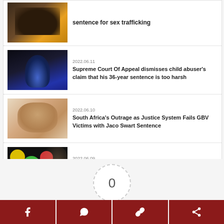[Figure (photo): Thumbnail of animal/bird image for sex trafficking article]
sentence for sex trafficking
[Figure (photo): Child hugging knees in dark blue setting]
2022.06.11
Supreme Court Of Appeal dismisses child abuser's claim that his 36-year sentence is too harsh
[Figure (photo): Close-up face of Jaco Swart]
2022.06.10
South Africa's Outrage as Justice System Fails GBV Victims with Jaco Swart Sentence
[Figure (photo): Dark background with colorful circles and CHILD ABUSE text]
2022.06.09
Evidence mounts that child abuse early warning systems are failing
[Figure (other): Article rating circle showing 0 with dashes on either side and Article Rating label]
Article Rating